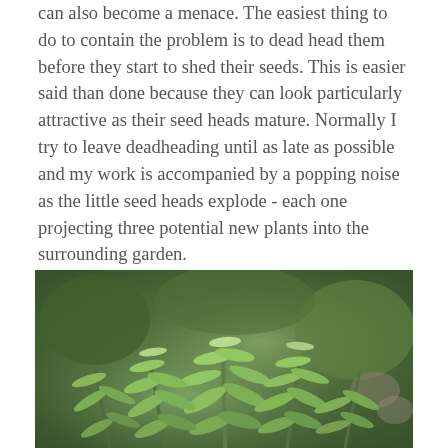can also become a menace. The easiest thing to do to contain the problem is to dead head them before they start to shed their seeds. This is easier said than done because they can look particularly attractive as their seed heads mature. Normally I try to leave deadheading until as late as possible and my work is accompanied by a popping noise as the little seed heads explode - each one projecting three potential new plants into the surrounding garden.
[Figure (photo): Close-up photograph of a green plant with feathery, finely divided blue-green foliage, likely a spurge or similar garden plant, photographed in a garden setting with other plants visible in the background.]